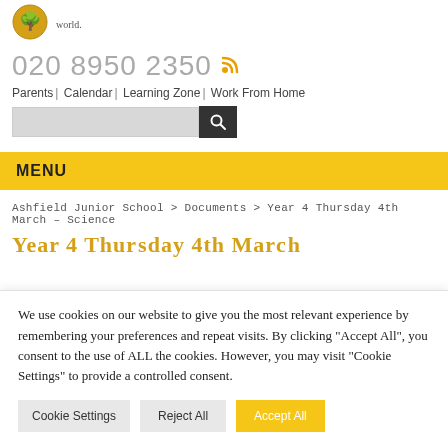[Figure (logo): School logo circle with tree/face emblem]
world.
020 8950 2350
[Figure (other): RSS feed icon in orange/yellow]
Parents | Calendar | Learning Zone | Work From Home
[Figure (other): Search input box with search button]
MENU
Ashfield Junior School > Documents > Year 4 Thursday 4th March – Science
Year 4 Thursday March...
We use cookies on our website to give you the most relevant experience by remembering your preferences and repeat visits. By clicking "Accept All", you consent to the use of ALL the cookies. However, you may visit "Cookie Settings" to provide a controlled consent.